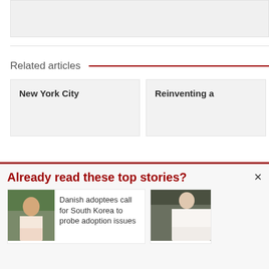[Figure (photo): Top image placeholder - grey rectangle]
Related articles
New York City
Reinventing a
Already read these top stories?
[Figure (photo): Photo of an Asian man in a pink shirt holding something, gesturing with one hand]
Danish adoptees call for South Korea to probe adoption issues
[Figure (photo): Photo of a man in a white shirt with arms crossed, standing in a doorway]